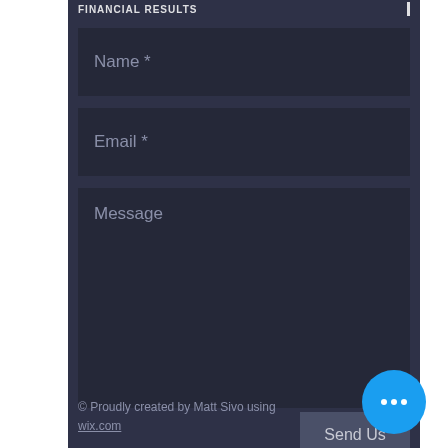FINANCIAL RESULTS | 1
Name *
Email *
Message
Send Us
© Proudly created by Matt Sivo using wix.com
[Figure (other): Blue circular floating action button with three white dots (ellipsis)]